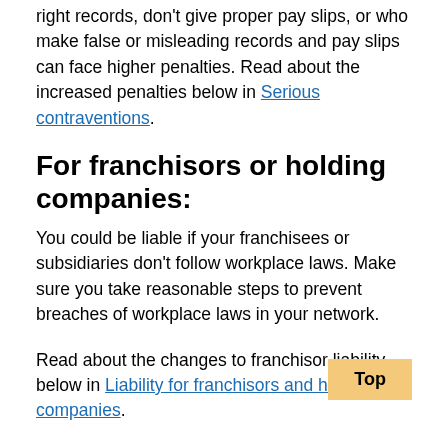right records, don't give proper pay slips, or who make false or misleading records and pay slips can face higher penalties. Read about the increased penalties below in Serious contraventions.
For franchisors or holding companies:
You could be liable if your franchisees or subsidiaries don't follow workplace laws. Make sure you take reasonable steps to prevent breaches of workplace laws in your network.
Read about the changes to franchisor liability below in Liability for franchisors and holding companies.
For employees: